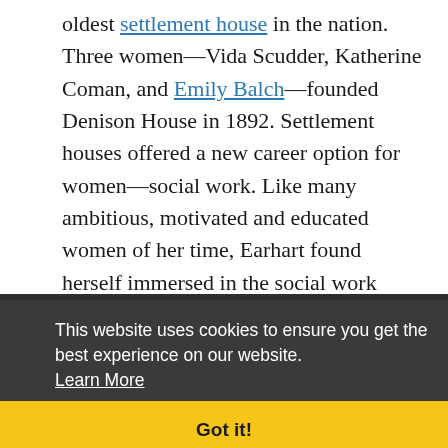oldest settlement house in the nation. Three women—Vida Scudder, Katherine Coman, and Emily Balch—founded Denison House in 1892. Settlement houses offered a new career option for women—social work. Like many ambitious, motivated and educated women of her time, Earhart found herself immersed in the social work field.
At the time Earhart began working at Denison House, settlement houses were designed to serve [immigrants] and the urban poor. Yet they were also places of exciting social change, new thinking, and [progressive ideas that inspired wom]en.
Earhart caught this vision and quickly became immersed in her job. She was in charge of adult
This website uses cookies to ensure you get the best experience on our website. Learn More
Got it!